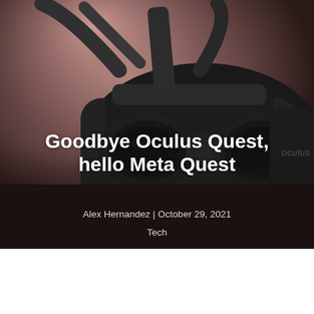[Figure (photo): A black Oculus Quest VR headset photographed against a blurred pinkish-brown background. The headset is shown from the front-left angle, with the 'oculus' brand name visible on the right side of the device. Head straps are visible at the top.]
Goodbye Oculus Quest, hello Meta Quest
Alex Hernandez | October 29, 2021
Tech